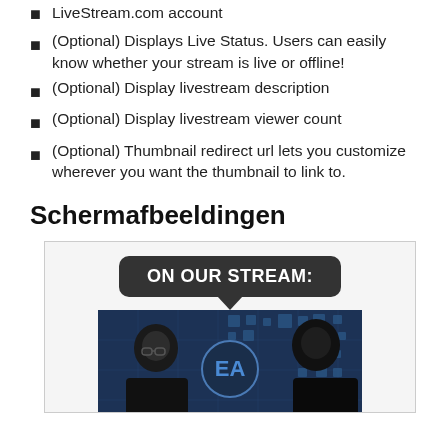LiveStream.com account
(Optional) Displays Live Status. Users can easily know whether your stream is live or offline!
(Optional) Display livestream description
(Optional) Display livestream viewer count
(Optional) Thumbnail redirect url lets you customize wherever you want the thumbnail to link to.
Schermafbeeldingen
[Figure (screenshot): Screenshot of a livestream plugin widget showing 'ON OUR STREAM:' label above a video thumbnail of two people with an EA logo background]